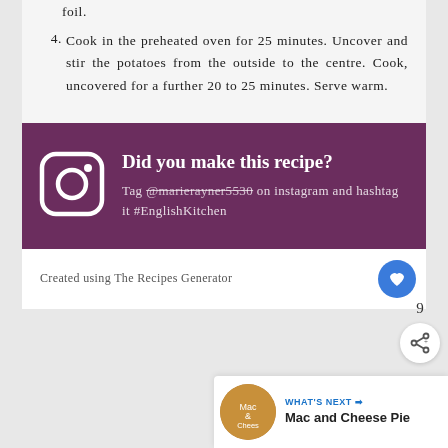foil.
4. Cook in the preheated oven for 25 minutes. Uncover and stir the potatoes from the outside to the centre. Cook, uncovered for a further 20 to 25 minutes. Serve warm.
[Figure (infographic): Purple banner with Instagram icon and text: Did you make this recipe? Tag @marierayner5530 on instagram and hashtag it #EnglishKitchen]
Created using The Recipes Generator
9
[Figure (infographic): Share icon button]
WHAT'S NEXT → Mac and Cheese Pie